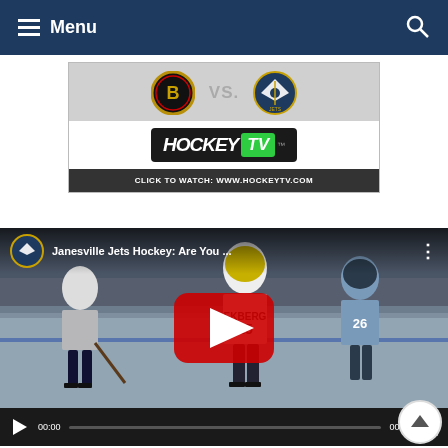Menu
[Figure (screenshot): HockeyTV banner showing two team logos (a bear logo vs a Jets logo) with VS. text between them, HockeyTV logo below, and 'CLICK TO WATCH: WWW.HOCKEYTV.COM' at the bottom]
[Figure (screenshot): YouTube video embed showing Janesville Jets hockey players on ice rink with player numbers including EKBERG 15. Video title: 'Janesville Jets Hockey: Are You ...' Duration 00:52, current time 00:00. Red YouTube play button in center.]